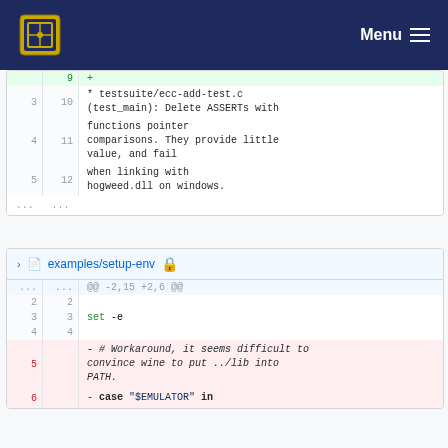Menu
| old | new | content |
| --- | --- | --- |
|  | 9 | + |
| 3 | 10 | * testsuite/ecc-add-test.c (test_main): Delete ASSERTs with |
| 4 | 11 | functions pointer comparisons. They provide little value, and fail |
| 5 | 12 | when linking with hogweed.dll on windows. |
| ... | ... |  |
examples/setup-env
| old | new | content |
| --- | --- | --- |
| ... | ... | @@ -2,15 +2,6 @@ |
| 2 | 2 |  |
| 3 | 3 | set -e |
| 4 | 4 |  |
| 5 |  | - # Workaround, it seems difficult to convince wine to put ../lib into PATH. |
| 6 |  | - case "$EMULATOR" in |